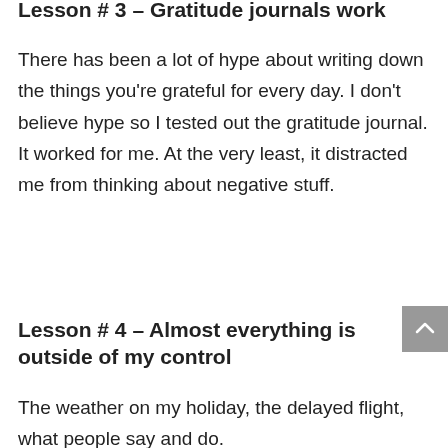Lesson # 3 – Gratitude journals work
There has been a lot of hype about writing down the things you're grateful for every day. I don't believe hype so I tested out the gratitude journal. It worked for me. At the very least, it distracted me from thinking about negative stuff.
Lesson # 4 – Almost everything is outside of my control
The weather on my holiday, the delayed flight, what people say and do.